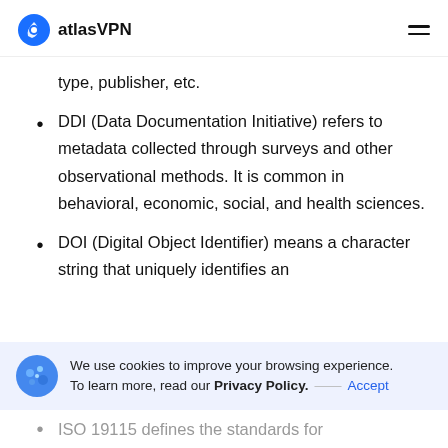atlasVPN
type, publisher, etc.
DDI (Data Documentation Initiative) refers to metadata collected through surveys and other observational methods. It is common in behavioral, economic, social, and health sciences.
DOI (Digital Object Identifier) means a character string that uniquely identifies an
We use cookies to improve your browsing experience. To learn more, read our Privacy Policy. — Accept
ISO 19115 defines the standards for